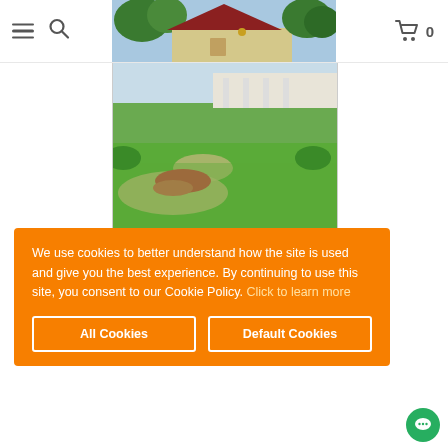[Figure (screenshot): Website header with hamburger menu icon, search icon on the left, a photo of a building with red roof and trees in the center, and a shopping cart icon with '0' on the right]
[Figure (photo): Outdoor photo showing a curved garden pathway with red flowering plants and green lawn, near a building with a covered walkway]
We use cookies to better understand how the site is used and give you the best experience. By continuing to use this site, you consent to our Cookie Policy. Click to learn more
All Cookies
Default Cookies